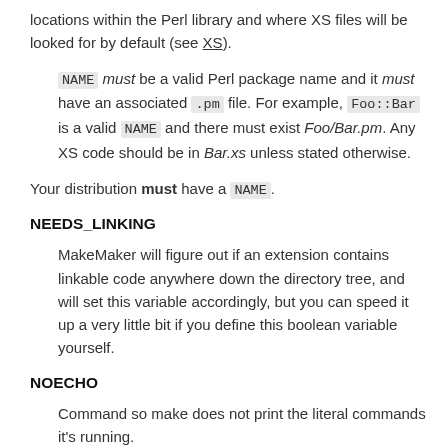locations within the Perl library and where XS files will be looked for by default (see XS).
NAME must be a valid Perl package name and it must have an associated .pm file. For example, Foo::Bar is a valid NAME and there must exist Foo/Bar.pm. Any XS code should be in Bar.xs unless stated otherwise.
Your distribution must have a NAME.
NEEDS_LINKING
MakeMaker will figure out if an extension contains linkable code anywhere down the directory tree, and will set this variable accordingly, but you can speed it up a very little bit if you define this boolean variable yourself.
NOECHO
Command so make does not print the literal commands it's running.